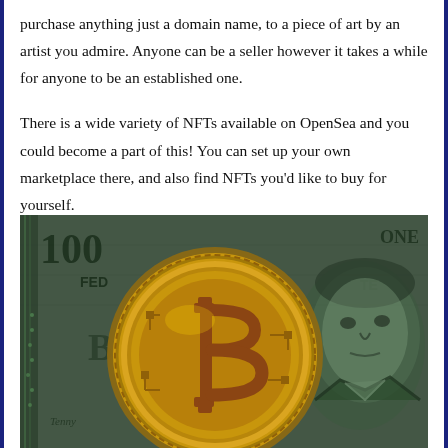purchase anything just a domain name, to a piece of art by an artist you admire. Anyone can be a seller however it takes a while for anyone to be an established one.
There is a wide variety of NFTs available on OpenSea and you could become a part of this! You can set up your own marketplace there, and also find NFTs you'd like to buy for yourself.
[Figure (photo): A gold Bitcoin coin placed on top of a US $100 dollar bill, showing Benjamin Franklin's face and the Federal Reserve text. The coin features the Bitcoin 'B' symbol with circuit-board styling.]